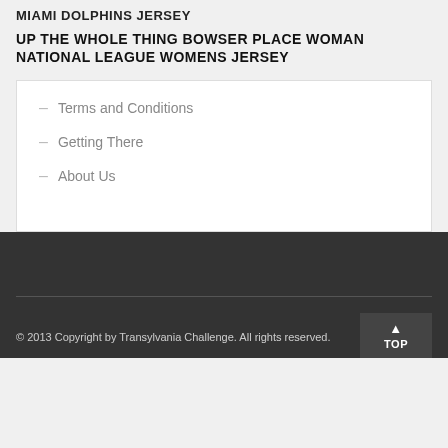MIAMI DOLPHINS JERSEY
UP THE WHOLE THING BOWSER PLACE WOMAN NATIONAL LEAGUE WOMENS JERSEY
Terms and Conditions
Getting There
About Us
© 2013 Copyright by Transylvania Challenge. All rights reserved.